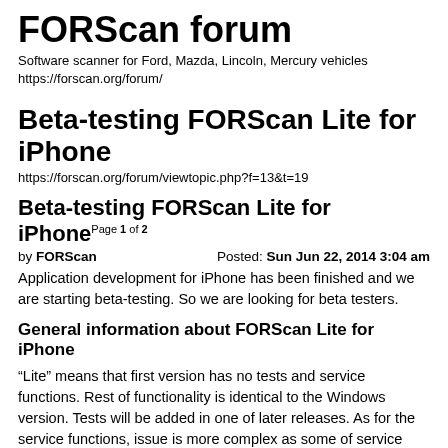FORScan forum
Software scanner for Ford, Mazda, Lincoln, Mercury vehicles
https://forscan.org/forum/
Beta-testing FORScan Lite for iPhone
https://forscan.org/forum/viewtopic.php?f=13&t=19
Beta-testing FORScan Lite for iPhone  Page 1 of 2
by FORScan   Posted: Sun Jun 22, 2014 3:04 am
Application development for iPhone has been finished and we are starting beta-testing. So we are looking for beta testers.
General information about FORScan Lite for iPhone
“Lite” means that first version has no tests and service functions. Rest of functionality is identical to the Windows version. Tests will be added in one of later releases. As for the service functions, issue is more complex as some of service functions may require maximum of priority in terms of user attention and device resources, that’s not possible for mobile platforms (for example, an incoming call will shift the application to background). Future of service functions in mobile applications is being discussed now.